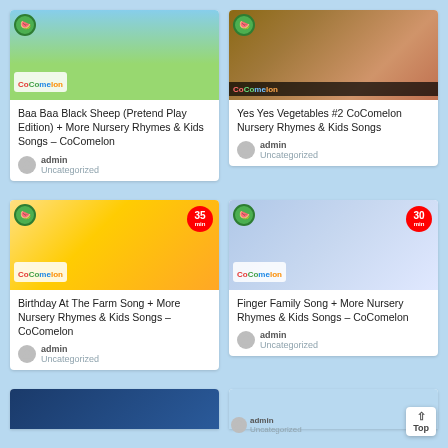[Figure (screenshot): Grid of CoComelon YouTube video thumbnail cards showing 4 full cards and 2 partial cards at the bottom.]
Baa Baa Black Sheep (Pretend Play Edition) + More Nursery Rhymes & Kids Songs – CoComelon
admin
Uncategorized
Yes Yes Vegetables #2 CoComelon Nursery Rhymes & Kids Songs
admin
Uncategorized
Birthday At The Farm Song + More Nursery Rhymes & Kids Songs – CoComelon
admin
Uncategorized
Finger Family Song + More Nursery Rhymes & Kids Songs – CoComelon
admin
Uncategorized